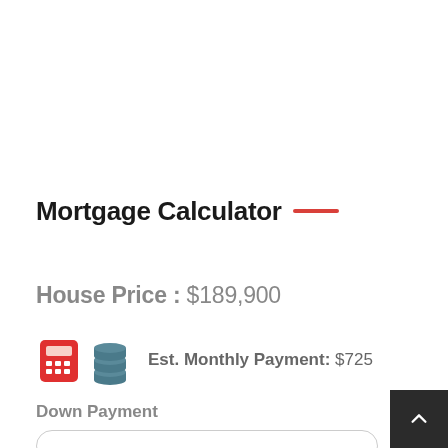Mortgage Calculator
House Price : $189,900
[Figure (illustration): Red calculator icon and stacked coins icon side by side]
Est. Monthly Payment: $725
Down Payment